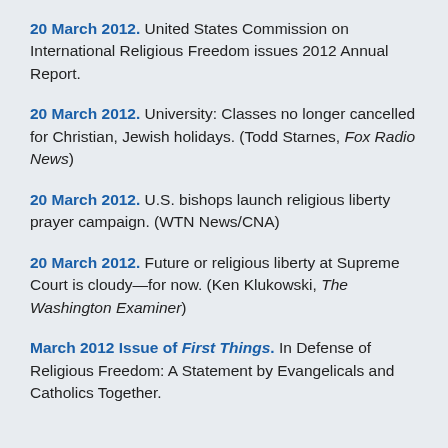20 March 2012. United States Commission on International Religious Freedom issues 2012 Annual Report.
20 March 2012. University: Classes no longer cancelled for Christian, Jewish holidays. (Todd Starnes, Fox Radio News)
20 March 2012. U.S. bishops launch religious liberty prayer campaign. (WTN News/CNA)
20 March 2012. Future or religious liberty at Supreme Court is cloudy—for now. (Ken Klukowski, The Washington Examiner)
March 2012 Issue of First Things. In Defense of Religious Freedom: A Statement by Evangelicals and Catholics Together.